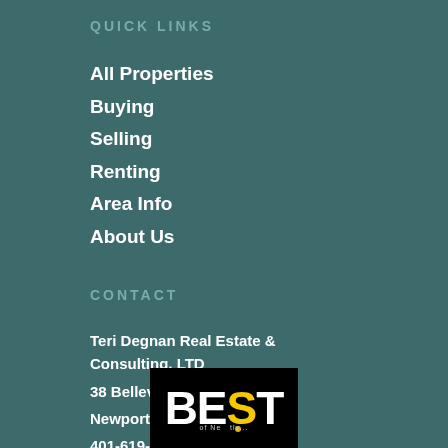QUICK LINKS
All Properties
Buying
Selling
Renting
Area Info
About Us
CONTACT
Teri Degnan Real Estate & Consulting, LTD
38 Bellevue Ave, Suite F
Newport, RI 02840
401-619-8222
teri@teridegnan.com
[Figure (logo): BEST logo - black background with white bold text reading BEST and partial text below]